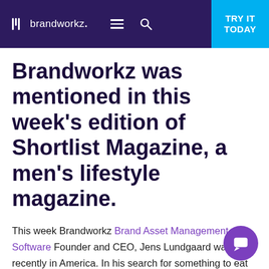brandworkz. [hamburger menu] [search] TRY IT TODAY
Brandworkz was mentioned in this week’s edition of Shortlist Magazine, a men’s lifestyle magazine.
This week Brandworkz Brand Asset Management Software Founder and CEO, Jens Lundgaard was recently in America. In his search for something to eat Jens began scouting suitable restaurants, when he noticed some interesting names for restaurants and bars, with one particularly standing out to him.